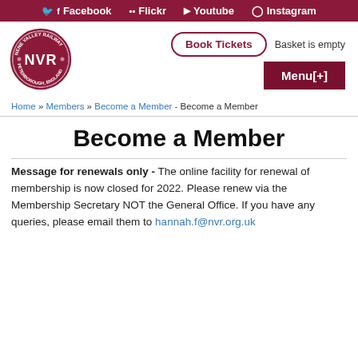Facebook  Flickr  Youtube  Instagram
[Figure (logo): Nene Valley Railway NVR Peterborough England circular logo]
Book Tickets  Basket is empty  Menu[+]
Home » Members » Become a Member - Become a Member
Become a Member
Message for renewals only - The online facility for renewal of membership is now closed for 2022. Please renew via the Membership Secretary NOT the General Office. If you have any queries, please email them to hannah.f@nvr.org.uk